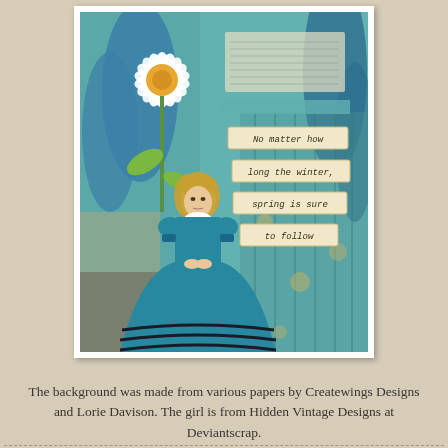[Figure (illustration): Digital scrapbook/mixed media art showing a young girl in a teal/turquoise Victorian-style dress standing in front of a painted background with large daisy flowers, blue tree-like shapes, and strips of paper with the text: 'No matter how long the winter, spring is sure to follow.' Framed with a white border like a photograph.]
The background was made from various papers by Createwings Designs and Lorie Davison. The girl is from Hidden Vintage Designs at Deviantscrap.